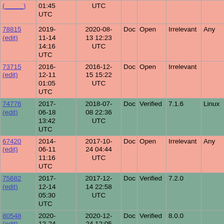| ID | Created | Modified | Type | Status | Version | OS | Summary |
| --- | --- | --- | --- | --- | --- | --- | --- |
| (---) | 01:45 UTC | UTC |  |  |  |  |  |
| 78815 (edit) | 2019-11-14 14:16 UTC | 2020-08-13 12:23 UTC | Doc | Open | Irrelevant | Any | Undoc... |
| 73715 (edit) | 2016-12-11 01:05 UTC | 2016-12-15 15:22 UTC | Doc | Open | Irrelevant |  | Undoc... call_us... |
| 74776 (edit) | 2017-06-18 13:42 UTC | 2018-07-08 22:36 UTC | Doc | Verified | 7.1.6 | Linux | undoc... presen... breaks... |
| 67420 (edit) | 2014-06-11 11:16 UTC | 2017-10-24 04:44 UTC | Doc | Open | Irrelevant | Any | Undoc... |
| 75682 (edit) | 2017-12-14 05:30 UTC | 2017-12-14 22:58 UTC | Doc | Verified | 7.2.0 |  | Undoc... |
| 80548 (edit) | 2020-12-24 10:24 UTC | 2020-12-24 12:05 UTC | Doc | Verified | 8.0.0 |  | Value... handle... 4437... |